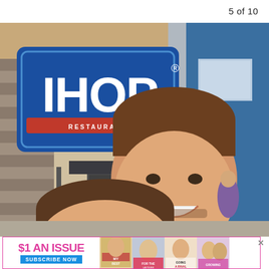5 of 10
[Figure (photo): A smiling couple taking a selfie in front of an IHOP Restaurant sign. A tall man in a light blue shirt with facial stubble is in the back, and a woman with brown hair and blue eyes is in the front. The IHOP sign is prominently visible in the upper left background.]
[Figure (infographic): Advertisement banner: '$1 AN ISSUE' in pink bold text, 'SUBSCRIBE NOW' on a blue button, with magazine cover thumbnails to the right, and an X close button on the far right.]